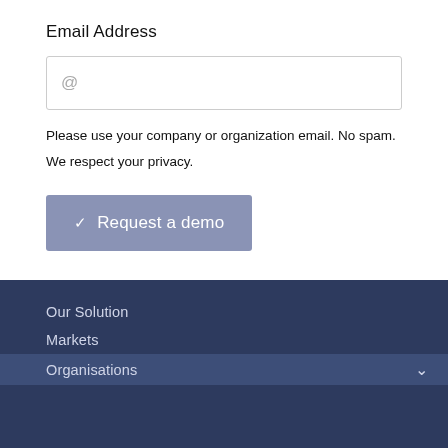Email Address
[Figure (other): Email input field with @ placeholder symbol, bordered input box]
Please use your company or organization email. No spam.
We respect your privacy.
[Figure (other): Request a demo button with checkmark icon, grey-blue background]
Our Solution
Markets
Organisations